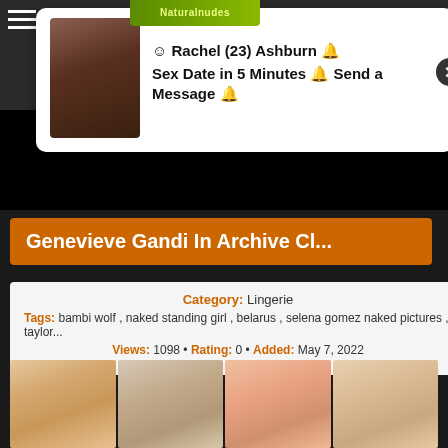[Figure (screenshot): Website page with advertisement popup showing Rachel (23) Ashburn with sex date message, dark video area, orange title bar for Genevieve Gandi In Archive Cl..., and content info card with image grid]
☺ Rachel (23) Ashburn 🔔 Sex Date in 5 Minutes 🔔 Send a Message 🔔
Genevieve Gandi In Archive Cl...
Category: Lingerie
Tags: bambi wolf , naked standing girl , belarus , selena gomez naked pictures , taylor...
Views: 1098 • Rating: 0 • Added: May 7, 2022